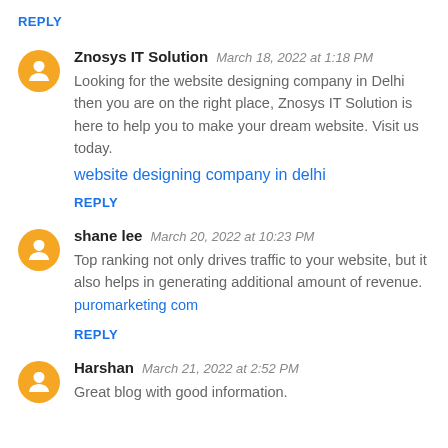REPLY
Znosys IT Solution  March 18, 2022 at 1:18 PM
Looking for the website designing company in Delhi then you are on the right place, Znosys IT Solution is here to help you to make your dream website. Visit us today.
website designing company in delhi
REPLY
shane lee  March 20, 2022 at 10:23 PM
Top ranking not only drives traffic to your website, but it also helps in generating additional amount of revenue. puromarketing com
REPLY
Harshan  March 21, 2022 at 2:52 PM
Great blog with good information.